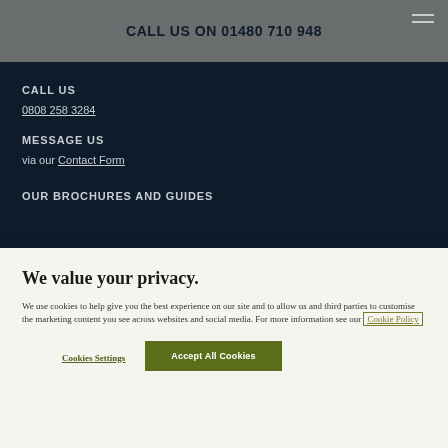CALL US ON 01480 710 948
CALL US
0808 258 3284
MESSAGE US
via our Contact Form
OUR BROCHURES AND GUIDES
We value your privacy.
We use cookies to help give you the best experience on our site and to allow us and third parties to customise the marketing content you see across websites and social media. For more information see our Cookie Policy
Cookies Settings
Accept All Cookies